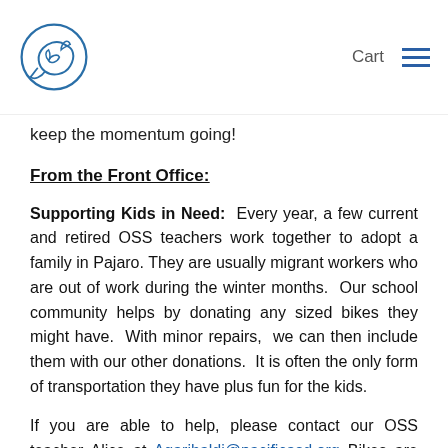Cart
keep the momentum going!
From the Front Office:
Supporting Kids in Need:  Every year, a few current and retired OSS teachers work together to adopt a family in Pajaro. They are usually migrant workers who are out of work during the winter months.  Our school community helps by donating any sized bikes they might have.  With minor repairs,  we can then include them with our other donations.  It is often the only form of transportation they have plus fun for the kids.
If you are able to help, please contact our OSS teacher Alice at Agaribaldi@pacificasd.org Bikes are needed by November 23.